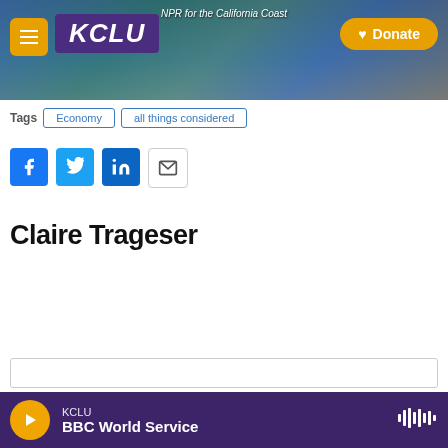KCLU — NPR for the California Coast — Donate
Tags: Economy | all things considered
[Figure (other): Social share buttons: Facebook, Twitter, LinkedIn, Email]
Claire Trageser
KCLU — BBC World Service (audio player bar)